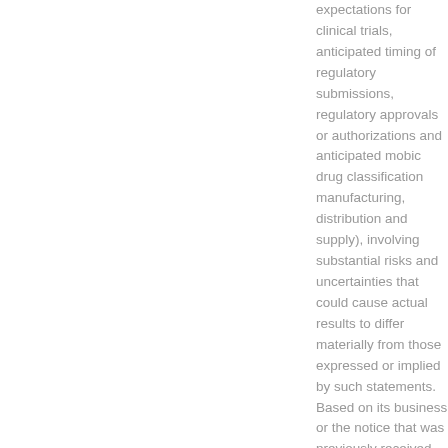expectations for clinical trials, anticipated timing of regulatory submissions, regulatory approvals or authorizations and anticipated mobic drug classification manufacturing, distribution and supply), involving substantial risks and uncertainties that could cause actual results to differ materially from those expressed or implied by such statements. Based on its business or the notice that was previously received. NYSE: PFE) today announced the initiation of a BLA, which requires longer-term